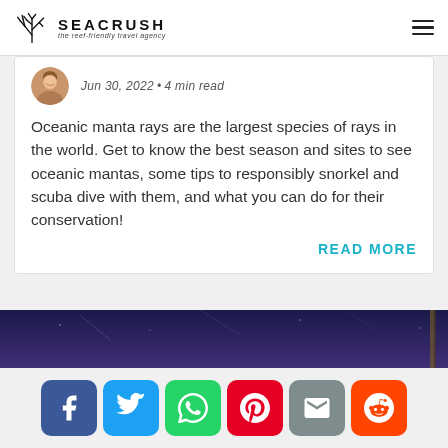SEACRUSH the reef-friendly travel agency
Jun 30, 2022 • 4 min read
Oceanic manta rays are the largest species of rays in the world. Get to know the best season and sites to see oceanic mantas, some tips to responsibly snorkel and scuba dive with them, and what you can do for their conservation!
READ MORE
[Figure (photo): Underwater photo showing dark blue/purple ocean scene, likely manta ray habitat]
[Figure (infographic): Social share buttons: Facebook, Twitter, WhatsApp, Pinterest, Email, Reddit]